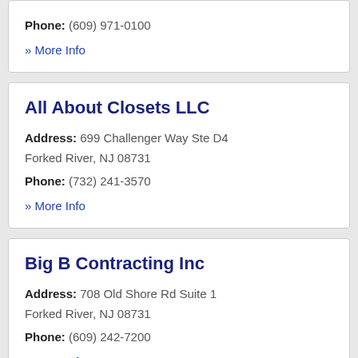Phone: (609) 971-0100
» More Info
All About Closets LLC
Address: 699 Challenger Way Ste D4 Forked River, NJ 08731
Phone: (732) 241-3570
» More Info
Big B Contracting Inc
Address: 708 Old Shore Rd Suite 1 Forked River, NJ 08731
Phone: (609) 242-7200
» More Info